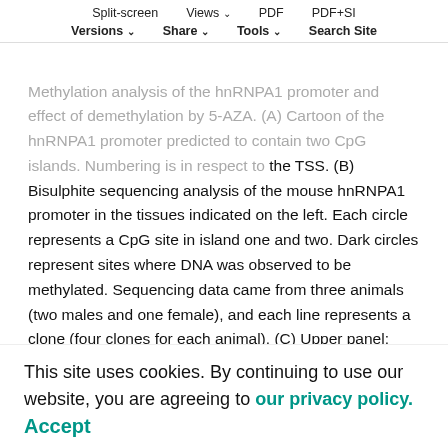Split-screen | Views | PDF | PDF+SI | Versions | Share | Tools | Search Site
Methylation analysis of the hnRNPA1 promoter and effect of demethylation by 5-AZA. (A) Cartoon of the hnRNPA1 promoter predicted to contain two CpG islands. Numbering is in respect to the TSS. (B) Bisulphite sequencing analysis of the mouse hnRNPA1 promoter in the tissues indicated on the left. Each circle represents a CpG site in island one and two. Dark circles represent sites where DNA was observed to be methylated. Sequencing data came from three animals (two males and one female), and each line represents a clone (four clones for each animal). (C) Upper panel: representative western blots of hnRNPA1 and GAPDH in NSC-34 cells not treated (NT) and treated with 10 μM of 5-AZA for 48 h or 72 h. Bar charts show the quantification after 48 h (dark grey bars) and 72 h (light grey bars) of protein (left) and mRNA (right). Values are normalized for GAPDH and expressed as fold over TDP-43 for each. Three biological replicates were performed. Black circles represent individual data points. Pairwise comparison was
This site uses cookies. By continuing to use our website, you are agreeing to our privacy policy. Accept